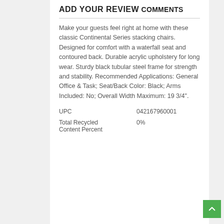ADD YOUR REVIEW
COMMENTS
Make your guests feel right at home with these classic Continental Series stacking chairs. Designed for comfort with a waterfall seat and contoured back. Durable acrylic upholstery for long wear. Sturdy black tubular steel frame for strength and stability. Recommended Applications: General Office & Task; Seat/Back Color: Black; Arms Included: No; Overall Width Maximum: 19 3/4".
| UPC | 042167960001 |
| Total Recycled Content Percent | 0% |